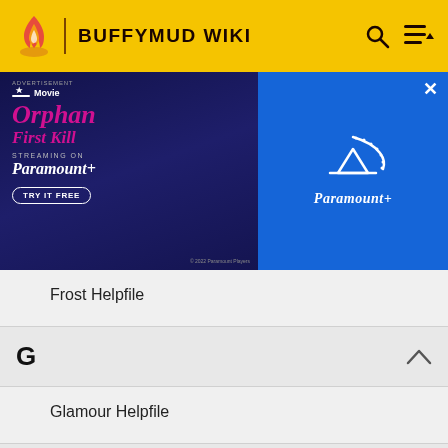BUFFYMUD WIKI
[Figure (screenshot): Advertisement banner for Orphan First Kill streaming on Paramount+. Shows movie title in pink text, a character image, and Paramount+ logo on blue background with Try It Free button.]
Frost Helpfile
G
Glamour Helpfile
H